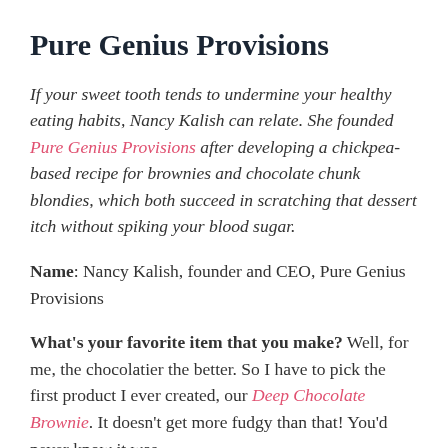Pure Genius Provisions
If your sweet tooth tends to undermine your healthy eating habits, Nancy Kalish can relate. She founded Pure Genius Provisions after developing a chickpea-based recipe for brownies and chocolate chunk blondies, which both succeed in scratching that dessert itch without spiking your blood sugar.
Name: Nancy Kalish, founder and CEO, Pure Genius Provisions
What's your favorite item that you make? Well, for me, the chocolatier the better. So I have to pick the first product I ever created, our Deep Chocolate Brownie. It doesn't get more fudgy than that! You'd never know it was